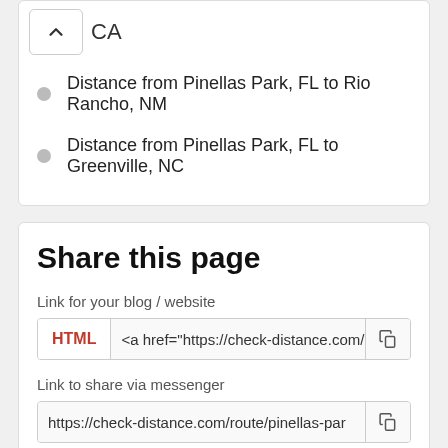CA
Distance from Pinellas Park, FL to Rio Rancho, NM
Distance from Pinellas Park, FL to Greenville, NC
Share this page
Link for your blog / website
HTML  <a href="https://check-distance.com/ro
Link to share via messenger
https://check-distance.com/route/pinellas-par